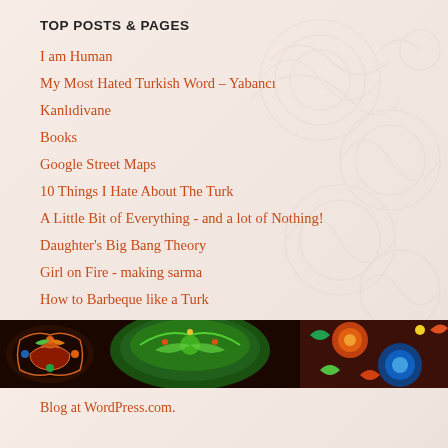TOP POSTS & PAGES
I am Human
My Most Hated Turkish Word – Yabancı
Kanlıdivane
Books
Google Street Maps
10 Things I Hate About The Turk
A Little Bit of Everything - and a lot of Nothing!
Daughter's Big Bang Theory
Girl on Fire - making sarma
How to Barbeque like a Turk
[Figure (photo): Strip of colorful decorative Turkish ceramic plates/bowls with traditional patterns in red, green, blue and yellow]
Blog at WordPress.com.